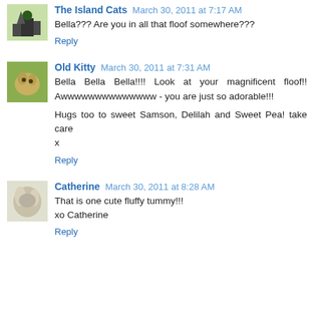The Island Cats March 30, 2011 at 7:17 AM
Bella??? Are you in all that floof somewhere???
Reply
Old Kitty March 30, 2011 at 7:31 AM
Bella Bella Bella!!!! Look at your magnificent floof!! Awwwwwwwwwwwwww - you are just so adorable!!!
Hugs too to sweet Samson, Delilah and Sweet Pea! take care
x
Reply
Catherine March 30, 2011 at 8:28 AM
That is one cute fluffy tummy!!!
xo Catherine
Reply